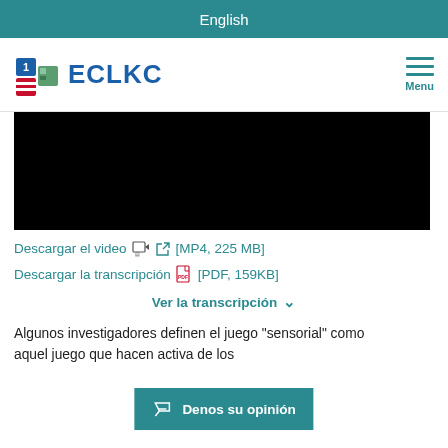English
[Figure (logo): ECLKC logo with colorful building blocks and text 'ECLKC' in blue, plus hamburger menu icon labeled 'Menu']
[Figure (screenshot): Black video player area]
Descargar el video [MP4, 225 MB]
Descargar la transcripción [PDF, 159KB]
Ver la transcripción ∨
Algunos investigadores definen el juego "sensorial" como aquel juego que hace... participación activa de los
Denos su opinión